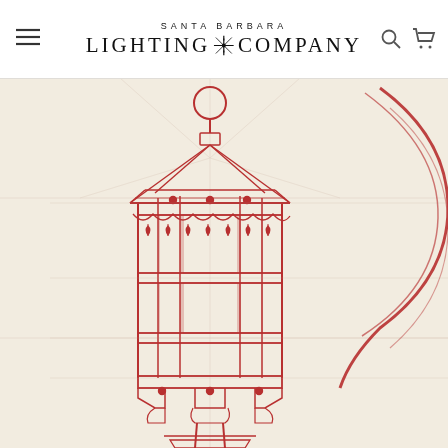[Figure (logo): Santa Barbara Lighting Company logo with hamburger menu, search icon, and cart icon in navigation header]
[Figure (illustration): Red pencil/blueprint sketch of a decorative outdoor lantern light fixture on aged parchment background, with a partial circular ring sketch visible on the right side]